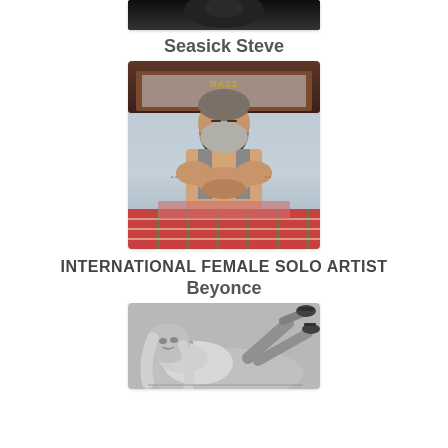[Figure (photo): Partial photo at top of page, cropped, dark/black tones]
Seasick Steve
[Figure (photo): Seasick Steve - older bearded man with tattoos sitting in an old vintage car, wearing a tank top, colorful plaid seat]
INTERNATIONAL FEMALE SOLO ARTIST
Beyonce
[Figure (photo): Beyonce - black and white glamour photo, woman with long hair wearing high heel boots, reclining pose]